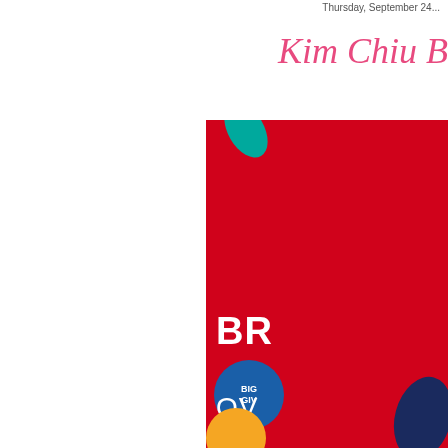Thursday, September 24...
Kim Chiu B...
[Figure (infographic): Red advertisement banner with teal shape at top, bold white text 'BR' partially visible, blue circular badge with 'BIG GIVE' text, white text 'OV' partially visible, navy blue teardrop shape at bottom right, yellow circle at bottom left]